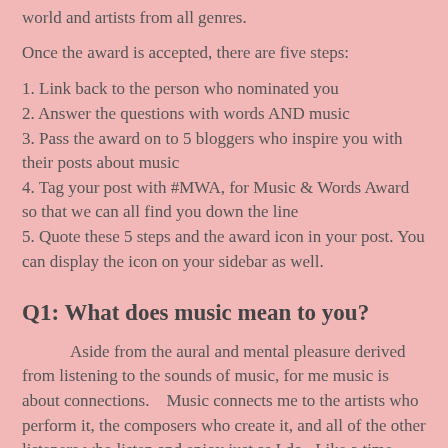world and artists from all genres.
Once the award is accepted, there are five steps:
1.  Link back to the person who nominated you
2.  Answer the questions with words AND music
3.   Pass the award on to 5 bloggers who inspire you with their posts about music
4.  Tag your post with #MWA, for Music & Words Award so that we can all find you down the line
5.  Quote these 5 steps and the award icon in your post. You can display the icon on your sidebar as well.
Q1: What does music mean to you?
Aside from the aural and mental pleasure derived from listening to the sounds of music, for me music is about connections.    Music connects me to the artists who perform it, the composers who create it, and all of the other listeners who listen and enjoy just as I do.  Like a time machine, music can transport me to places in my own memories as